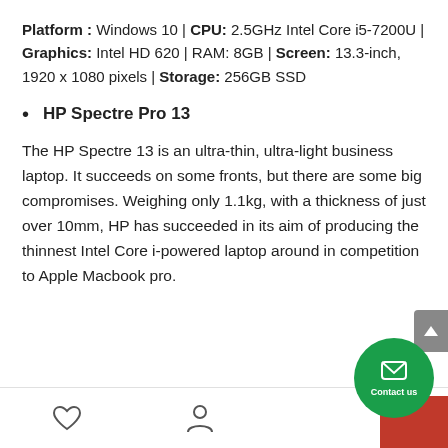Platform : Windows 10 | CPU: 2.5GHz Intel Core i5-7200U | Graphics: Intel HD 620 | RAM: 8GB | Screen: 13.3-inch, 1920 x 1080 pixels | Storage: 256GB SSD
HP Spectre Pro 13
The HP Spectre 13 is an ultra-thin, ultra-light business laptop. It succeeds on some fronts, but there are some big compromises. Weighing only 1.1kg, with a thickness of just over 10mm, HP has succeeded in its aim of producing the thinnest Intel Core i-powered laptop around in competition to Apple Macbook pro.